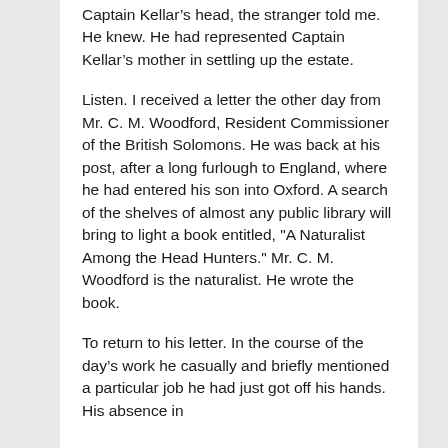Captain Kellar’s head, the stranger told me. He knew. He had represented Captain Kellar’s mother in settling up the estate.
Listen. I received a letter the other day from Mr. C. M. Woodford, Resident Commissioner of the British Solomons. He was back at his post, after a long furlough to England, where he had entered his son into Oxford. A search of the shelves of almost any public library will bring to light a book entitled, "A Naturalist Among the Head Hunters." Mr. C. M. Woodford is the naturalist. He wrote the book.
To return to his letter. In the course of the day’s work he casually and briefly mentioned a particular job he had just got off his hands. His absence in